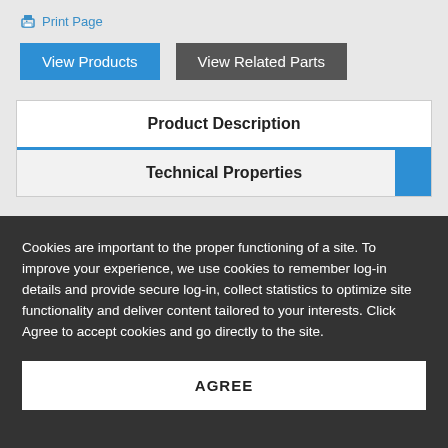Print Page
View Products
View Related Parts
Product Description
Technical Properties
Cookies are important to the proper functioning of a site. To improve your experience, we use cookies to remember log-in details and provide secure log-in, collect statistics to optimize site functionality and deliver content tailored to your interests. Click Agree to accept cookies and go directly to the site.
AGREE